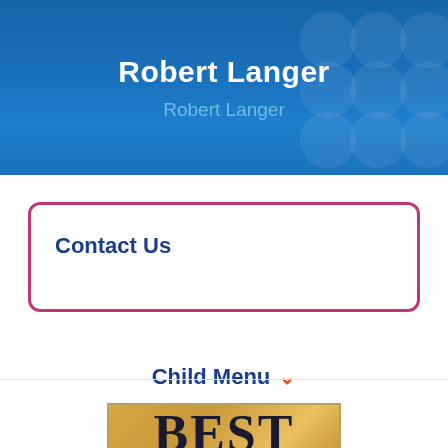Robert Langer
Robert Langer
Contact Us
Child Menu
[Figure (logo): Best Children's Hospitals badge/award logo with gold background showing text BEST CHILDREN'S HOSPITALS]